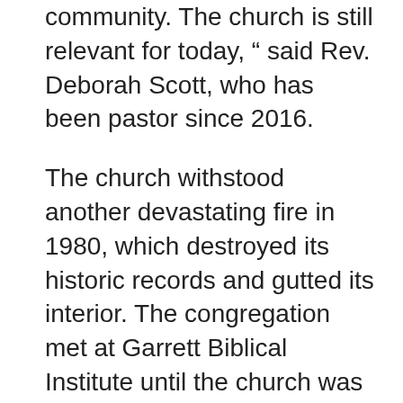community. The church is still relevant for today, “ said Rev. Deborah Scott, who has been pastor since 2016.
The church withstood another devastating fire in 1980, which destroyed its historic records and gutted its interior. The congregation met at Garrett Biblical Institute until the church was re-dedicated in 1982. Founded 100 years prior, on Oct. 30, 1882, Ebenezer AME is the oldest black church in Evanston, followed immediately by Second Baptist, which was founded less than a month later, on Nov. 15, 1882.
In her reflections on Ebenezer’s anniversary